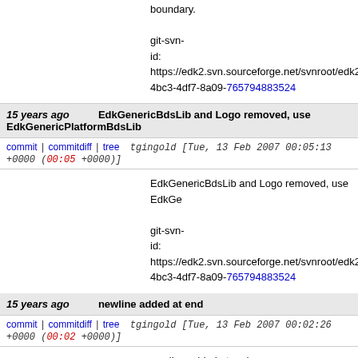boundary.

git-svn-id: https://edk2.svn.sourceforge.net/svnroot/edk2/t 4bc3-4df7-8a09-765794883524
15 years ago   EdkGenericBdsLib and Logo removed, use EdkGenericPlatformBdsLib
commit | commitdiff | tree   tgingold [Tue, 13 Feb 2007 00:05:13 +0000 (00:05 +0000)]
EdkGenericBdsLib and Logo removed, use EdkGe

git-svn-id: https://edk2.svn.sourceforge.net/svnroot/edk2/t 4bc3-4df7-8a09-765794883524
15 years ago   newline added at end
commit | commitdiff | tree   tgingold [Tue, 13 Feb 2007 00:02:26 +0000 (00:02 +0000)]
newline added at end

git-svn-id: https://edk2.svn.sourceforge.net/svnroot/edk2/t 4bc3-4df7-8a09-765794883524